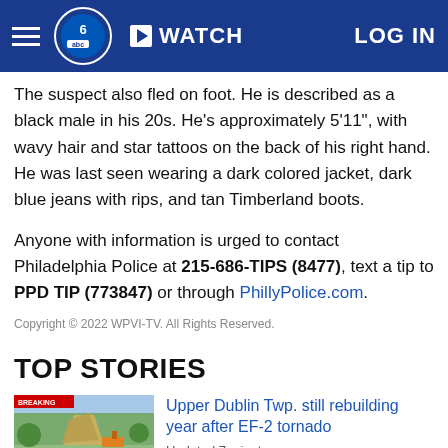WATCH   LOG IN
The suspect also fled on foot. He is described as a black male in his 20s. He's approximately 5'11", with wavy hair and star tattoos on the back of his right hand. He was last seen wearing a dark colored jacket, dark blue jeans with rips, and tan Timberland boots.
Anyone with information is urged to contact Philadelphia Police at 215-686-TIPS (8477), text a tip to PPD TIP (773847) or through PhillyPolice.com.
Copyright © 2022 WPVI-TV. All Rights Reserved.
TOP STORIES
[Figure (photo): Aerial photo of Upper Dublin Township showing tornado damage with debris and construction equipment]
Upper Dublin Twp. still rebuilding year after EF-2 tornado
Updated 7 minutes ago